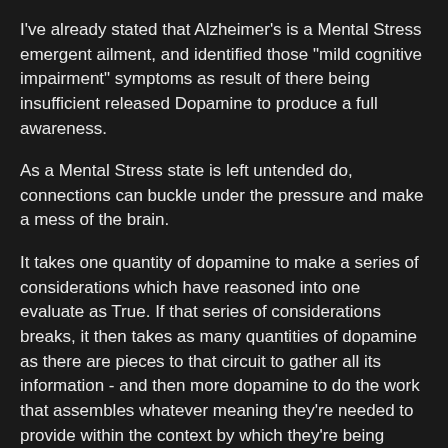I've already stated that Alzheimer's is a Mental Stress emergent ailment, and identified those "mild cognitive impairment" symptoms as result of there being insufficient released Dopamine to produce a full awareness.
As a Mental Stress state is left untended do, connections can buckle under the pressure and make a mess of the brain.
It takes one quantity of dopamine to make a series of considerations which have reasoned into one evaluate as True. If that series of considerations breaks, it then takes as many quantities of dopamine as there are pieces to that circuit to gather all its information - and then more dopamine to do the work that assembles whatever meaning they're needed to provide within the context by which they're being called for.
A brain whose Dopamine supply is increasingly burdened is going to portray a diminishing awareness.